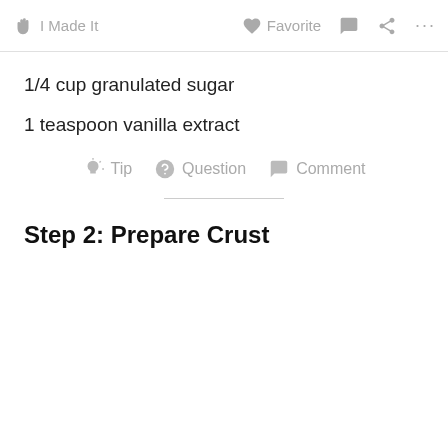I Made It   Favorite   [comment icon]   [share icon]   ...
1/4 cup granulated sugar
1 teaspoon vanilla extract
Tip   Question   Comment
Step 2: Prepare Crust